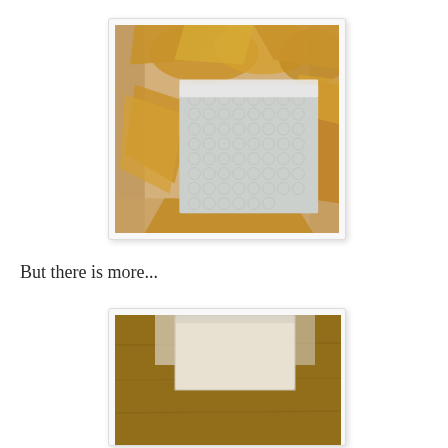[Figure (photo): Open cardboard box viewed from above, containing a bubble-wrapped item surrounded by crumpled golden/tan tissue paper packing material]
But there is more...
[Figure (photo): Partial view of another item inside a box, partially visible at bottom of page]